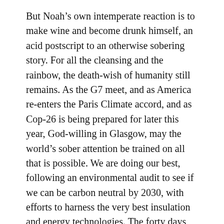But Noah's own intemperate reaction is to make wine and become drunk himself, an acid postscript to an otherwise sobering story. For all the cleansing and the rainbow, the death-wish of humanity still remains. As the G7 meet, and as America re-enters the Paris Climate accord, and as Cop-26 is being prepared for later this year, God-willing in Glasgow, may the world's sober attention be trained on all that is possible. We are doing our best, following an environmental audit to see if we can be carbon neutral by 2030, with efforts to harness the very best insulation and energy technologies. The forty days and nights of rain, were followed by 150 days of gradual ebbing of the great flood, then 40 days more before a raven was released, then another 7 and a dove.
Jesus' 40 days and nights in the wilderness echo some of this symbolism. Two things underlie this